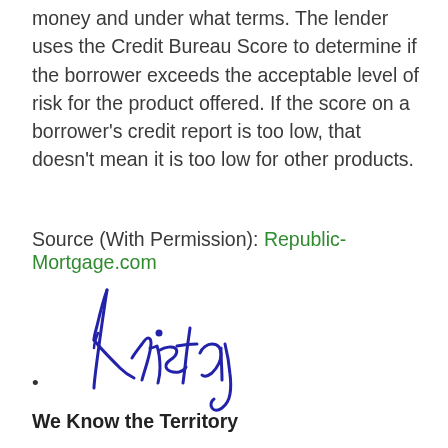money and under what terms. The lender uses the Credit Bureau Score to determine if the borrower exceeds the acceptable level of risk for the product offered. If the score on a borrower's credit report is too low, that doesn't mean it is too low for other products.
Source (With Permission): Republic-Mortgage.com
[Figure (illustration): Handwritten cursive signature reading 'Kristal' in blue ink]
We Know the Territory